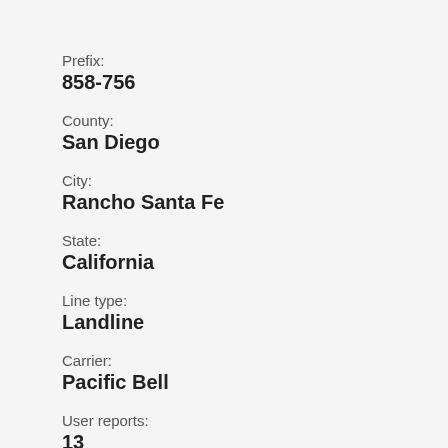Prefix:
858-756
County:
San Diego
City:
Rancho Santa Fe
State:
California
Line type:
Landline
Carrier:
Pacific Bell
User reports:
13